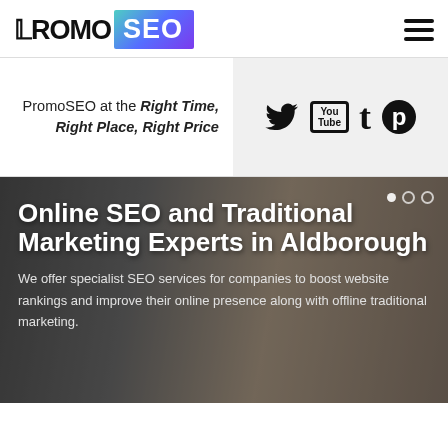[Figure (logo): PromoSEO logo: 'PROMO' in black bold text followed by 'SEO' in white bold text on a gradient purple-teal box]
[Figure (infographic): Hamburger menu icon (three horizontal black lines)]
PromoSEO at the Right Time, Right Place, Right Price
[Figure (infographic): Social media icons: Twitter bird, YouTube box, Tumblr t, Pinterest circle logo]
Online SEO and Traditional Marketing Experts in Aldborough
We offer specialist SEO services for companies to boost website rankings and improve their online presence along with offline traditional marketing.